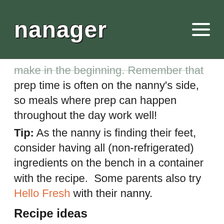nanager
make in the beginning. Remember that prep time is often on the nanny’s side, so meals where prep can happen throughout the day work well!
Tip: As the nanny is finding their feet, consider having all (non-refrigerated) ingredients on the bench in a container with the recipe.  Some parents also try Hello Fresh with their nanny.
Recipe ideas
Simple sides will be a big help (rice in a rice cooker, steam/roast veg, go-to simple salad)